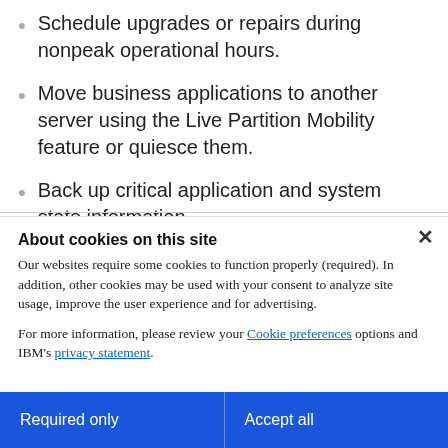Schedule upgrades or repairs during nonpeak operational hours.
Move business applications to another server using the Live Partition Mobility feature or quiesce them.
Back up critical application and system state information.
About cookies on this site
Our websites require some cookies to function properly (required). In addition, other cookies may be used with your consent to analyze site usage, improve the user experience and for advertising.
For more information, please review your Cookie preferences options and IBM's privacy statement.